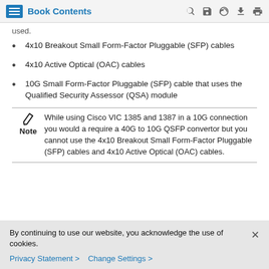Book Contents
used.
4x10 Breakout Small Form-Factor Pluggable (SFP) cables
4x10 Active Optical (OAC) cables
10G Small Form-Factor Pluggable (SFP) cable that uses the Qualified Security Assessor (QSA) module
Note: While using Cisco VIC 1385 and 1387 in a 10G connection you would a require a 40G to 10G QSFP convertor but you cannot use the 4x10 Breakout Small Form-Factor Pluggable (SFP) cables and 4x10 Active Optical (OAC) cables.
By continuing to use our website, you acknowledge the use of cookies.
Privacy Statement > Change Settings >